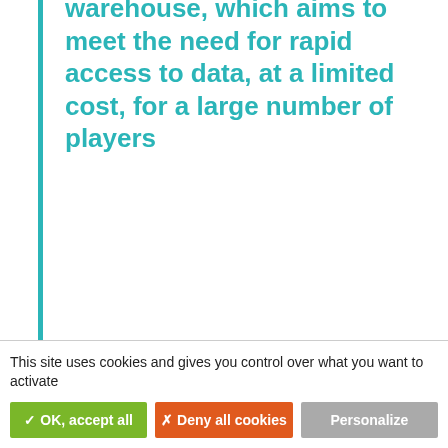warehouse, which aims to meet the need for rapid access to data, at a limited cost, for a large number of players
Jean-Marc Pinguet, Director of Personalized Medicine at Roche
[Figure (photo): Partial photo of a person's head in a circular frame with an orange vertical line above it]
This site uses cookies and gives you control over what you want to activate